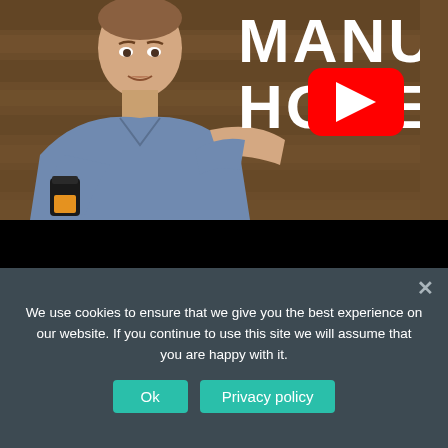[Figure (screenshot): YouTube video thumbnail showing a man in a blue shirt holding a small dark jar of manuka honey, with text 'MANUK HONE' partially visible in white bold letters on the right, and a YouTube play button overlay in the center-right. The lower portion of the video area is black (letterbox).]
We use cookies to ensure that we give you the best experience on our website. If you continue to use this site we will assume that you are happy with it.